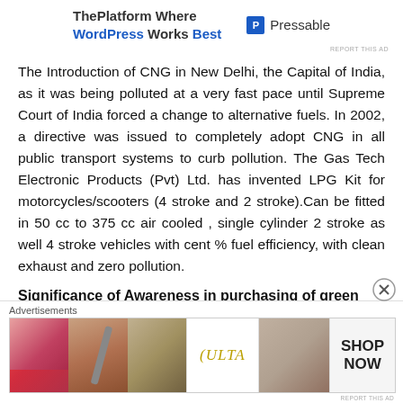[Figure (other): Advertisement banner: ThePlatform Where WordPress Works Best with Pressable logo]
The Introduction of CNG in New Delhi, the Capital of India, as it was being polluted at a very fast pace until Supreme Court of India forced a change to alternative fuels. In 2002, a directive was issued to completely adopt CNG in all public transport systems to curb pollution. The Gas Tech Electronic Products (Pvt) Ltd. has invented LPG Kit for motorcycles/scooters (4 stroke and 2 stroke).Can be fitted in 50 cc to 375 cc air cooled , single cylinder 2 stroke as well 4 stroke vehicles with cent % fuel efficiency, with clean exhaust and zero pollution.
Significance of Awareness in purchasing of green products
[Figure (other): Ulta Beauty advertisement banner with makeup imagery and SHOP NOW call to action]